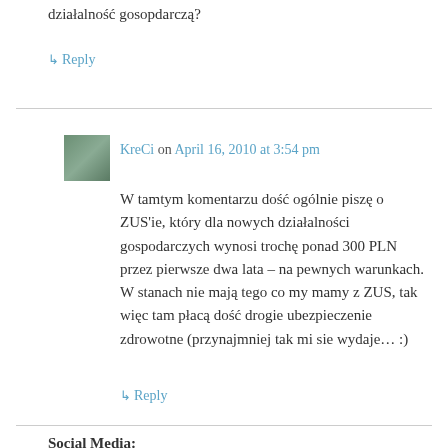działalność gosopdarczą?
↳ Reply
KreCi on April 16, 2010 at 3:54 pm
W tamtym komentarzu dość ogólnie piszę o ZUS'ie, który dla nowych działalności gospodarczych wynosi trochę ponad 300 PLN przez pierwsze dwa lata – na pewnych warunkach. W stanach nie mają tego co my mamy z ZUS, tak więc tam płacą dość drogie ubezpieczenie zdrowotne (przynajmniej tak mi sie wydaje… :)
↳ Reply
Social Media: